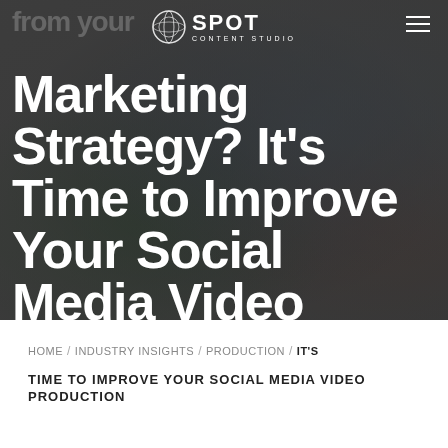[Figure (photo): Hero image of a professional video camera on a tripod in a studio/store setting with blurred background showing clothing racks and plants. Dark overlay. Logo for SPOT Content Studio at top center. Hamburger menu icon at top right. Large white bold text overlay reading 'Marketing Strategy? It's Time to Improve Your Social Media Video Production' (partially cropped at bottom).]
Marketing Strategy? It's Time to Improve Your Social Media Video Production
HOME / INDUSTRY INSIGHTS / PRODUCTION / IT'S TIME TO IMPROVE YOUR SOCIAL MEDIA VIDEO PRODUCTION